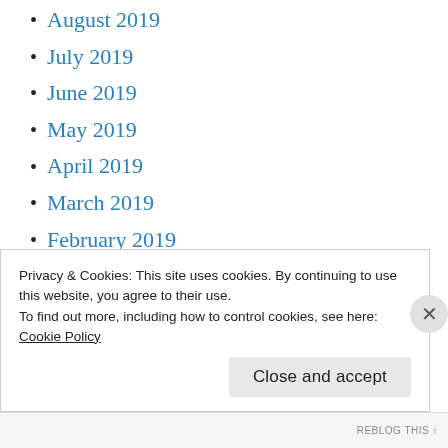August 2019
July 2019
June 2019
May 2019
April 2019
March 2019
February 2019
January 2019
December 2018
November 2018
October 2018
Privacy & Cookies: This site uses cookies. By continuing to use this website, you agree to their use.
To find out more, including how to control cookies, see here:
Cookie Policy
Close and accept